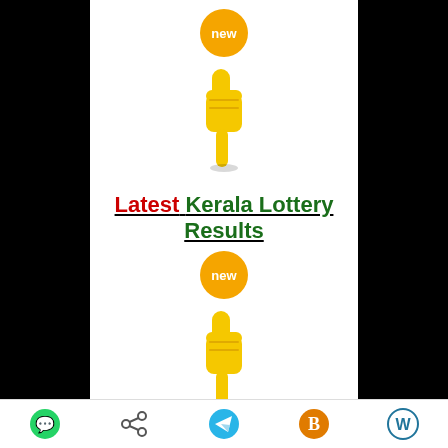[Figure (illustration): Orange 'new' badge circle at top]
[Figure (illustration): Yellow hand pointing down emoji/icon]
Latest Kerala Lottery Results
[Figure (illustration): Orange 'new' badge circle]
[Figure (illustration): Yellow hand pointing down emoji/icon]
Which lottery is best in Kerala?
WhatsApp, Share, Telegram, Blogger, WordPress icons